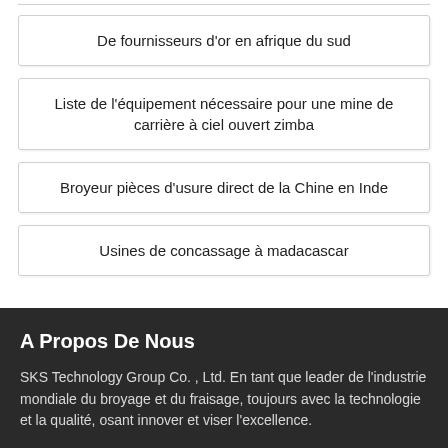De fournisseurs d'or en afrique du sud
Liste de l'équipement nécessaire pour une mine de carrière à ciel ouvert zimba
Broyeur pièces d'usure direct de la Chine en Inde
Usines de concassage à madacascar
A Propos De Nous
SKS Technology Group Co. , Ltd. En tant que leader de l'industrie mondiale du broyage et du fraisage, toujours avec la technologie et la qualité, osant innover et viser l'excellence.